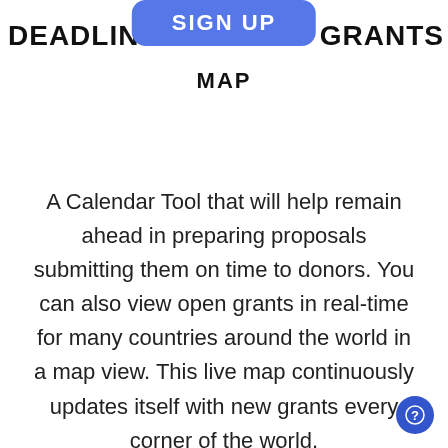DEADLINE  SIGN UP  GRANTS
MAP
A Calendar Tool that will help remain ahead in preparing proposals submitting them on time to donors. You can also view open grants in real-time for many countries around the world in a map view. This live map continuously updates itself with new grants every corner of the world.